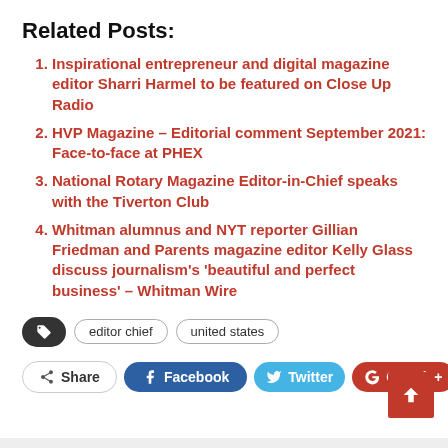Related Posts:
Inspirational entrepreneur and digital magazine editor Sharri Harmel to be featured on Close Up Radio
HVP Magazine – Editorial comment September 2021: Face-to-face at PHEX
National Rotary Magazine Editor-in-Chief speaks with the Tiverton Club
Whitman alumnus and NYT reporter Gillian Friedman and Parents magazine editor Kelly Glass discuss journalism's 'beautiful and perfect business' – Whitman Wire
editor chief  united states
Share  Facebook  Twitter  Google+